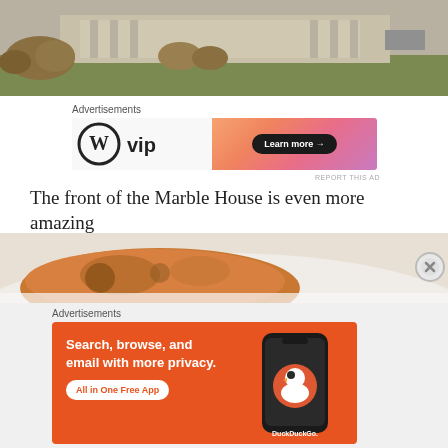[Figure (photo): Outdoor photo showing a grassy lawn with dry shrubs/bushes and a building or monument in the background, winter scene]
Advertisements
[Figure (other): WordPress VIP advertisement banner with orange/pink gradient background. Shows WordPress logo (W in circle) with 'vip' text and a 'Learn more →' button on dark pill-shaped button.]
REPORT THIS AD
The front of the Marble House is even more amazing
[Figure (photo): Close-up photo of what appears to be a baked pastry or pie with a crispy golden-brown crust on a white plate or surface]
Advertisements
[Figure (other): DuckDuckGo advertisement with orange background. Text: 'Search, browse, and email with more privacy. All in One Free App' with DuckDuckGo logo and smartphone mockup showing the app.]
REPORT THIS AD